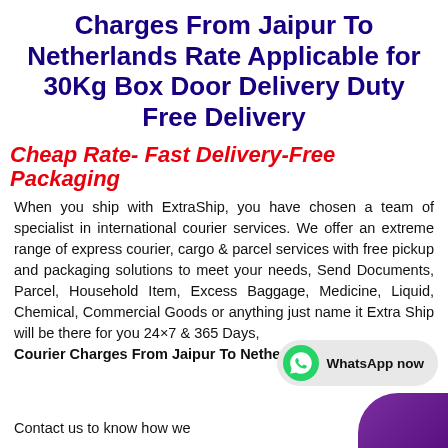Charges From Jaipur To Netherlands Rate Applicable for 30Kg Box Door Delivery Duty Free Delivery
Cheap Rate- Fast Delivery-Free Packaging
When you ship with ExtraShip, you have chosen a team of specialist in international courier services. We offer an extreme range of express courier, cargo & parcel services with free pickup and packaging solutions to meet your needs, Send Documents, Parcel, Household Item, Excess Baggage, Medicine, Liquid, Chemical, Commercial Goods or anything just name it Extra Ship will be there for you 24×7 & 365 Days, Courier Charges From Jaipur To Netherlands
Contact us to know how we